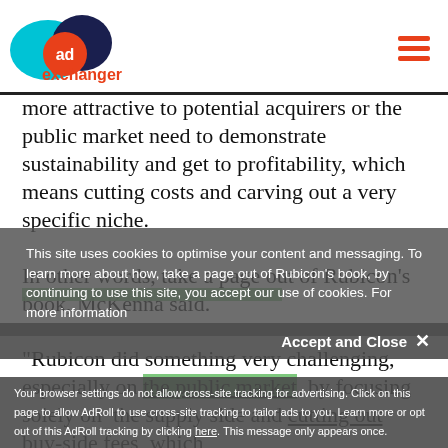ad exchanger
more attractive to potential acquirers or the public market need to demonstrate sustainability and get to profitability, which means cutting costs and carving out a very specific niche.

In other words, take a page out of Rubicon's book, McKenna said.

"Rubicon did something very challenging, especially on the public market, by focusing solely on the supply side and cutting out buy-side fees, which dropped their take rate," he said. "But in doing that, focused on their core competency and they were
This site uses cookies to optimise your content and messaging. To learn more about how, take a page out of Rubicon's book, by continuing to use this site, you accept our use of cookies. For more information
Accept and Close ✕
Your browser settings do not allow cross-site tracking for advertising. Click on this page to allow AdRoll to use cross-site tracking to tailor ads to you. Learn more or opt out of this AdRoll tracking by clicking here. This message only appears once.